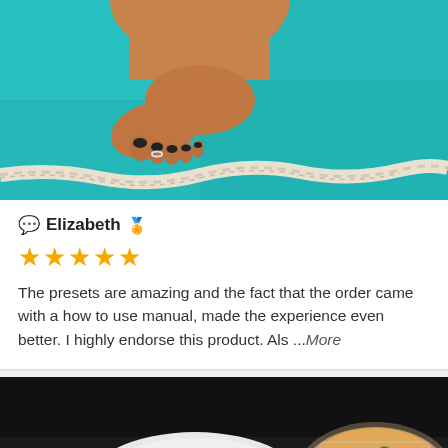[Figure (photo): Close-up photo of a person's foot on a teal/turquoise carpet or towel, with a white braided rope visible at the bottom. The foot has dark nail polish and there is a ring on one toe.]
Elizabeth 🏅
★★★★★
The presets are amazing and the fact that the order came with a how to use manual, made the experience even better. I highly endorse this product. Als ...More
[Figure (photo): Food photo on a dark background showing a white plate with mashed potatoes in the center, a glass bowl with a rice or grain dish with red and green peppers on the right, and dark meat with green herbs/salad on the lower left.]